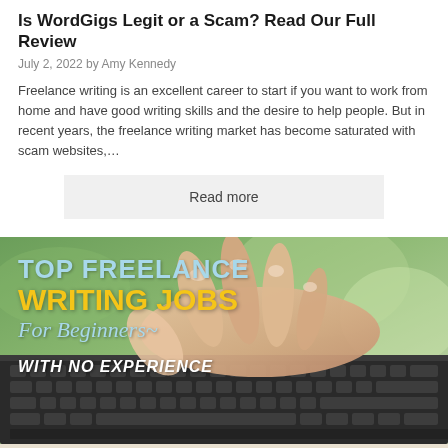Is WordGigs Legit or a Scam? Read Our Full Review
July 2, 2022 by Amy Kennedy
Freelance writing is an excellent career to start if you want to work from home and have good writing skills and the desire to help people. But in recent years, the freelance writing market has become saturated with scam websites,...
Read more
[Figure (photo): A laptop keyboard with hands typing, overlaid with text: TOP FREELANCE WRITING JOBS For Beginners~ WITH NO EXPERIENCE, www.wahadventures.com]
>> www.wahadventures.com <<